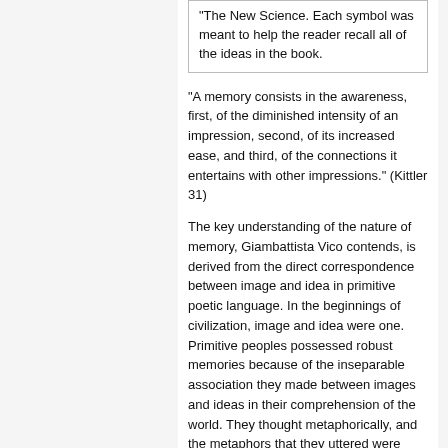“The New Science. Each symbol was meant to help the reader recall all of the ideas in the book.
“A memory consists in the awareness, first, of the diminished intensity of an impression, second, of its increased ease, and third, of the connections it entertains with other impressions.” (Kittler 31)
The key understanding of the nature of memory, Giambattista Vico contends, is derived from the direct correspondence between image and idea in primitive poetic language. In the beginnings of civilization, image and idea were one. Primitive peoples possessed robust memories because of the inseparable association they made between images and ideas in their comprehension of the world. They thought metaphorically, and the metaphors that they uttered were easily mimicked and remembered because they were richly expressive, grandiose, and full of wonder at the world. The link between human imagination and the universe that the